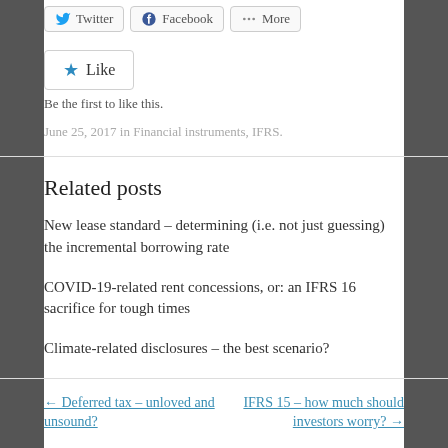[Figure (other): Social sharing buttons: Twitter, Facebook, More]
[Figure (other): Like button widget with star icon]
Be the first to like this.
June 25, 2017 in Financial instruments, IFRS.
Related posts
New lease standard – determining (i.e. not just guessing) the incremental borrowing rate
COVID-19-related rent concessions, or: an IFRS 16 sacrifice for tough times
Climate-related disclosures – the best scenario?
← Deferred tax – unloved and unsound?
IFRS 15 – how much should investors worry? →